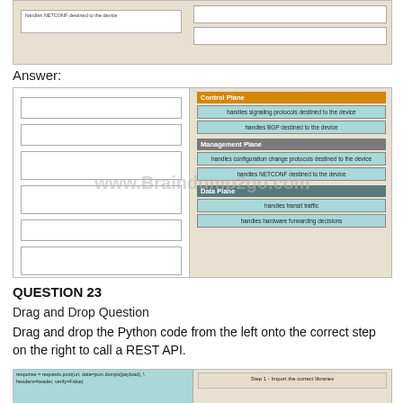[Figure (screenshot): Top partial diagram showing drag and drop answer layout with left panel white boxes and right panel empty boxes]
Answer:
[Figure (screenshot): Answer diagram showing Control Plane (handles signaling protocols destined to the device, handles BGP destined to the device), Management Plane (handles configuration change protocols destined to the device, handles NETCONF destined to the device), Data Plane (handles transit traffic, handles hardware forwarding decisions). Watermark: www.Braindump2go.com]
QUESTION 23
Drag and Drop Question
Drag and drop the Python code from the left onto the correct step on the right to call a REST API.
[Figure (screenshot): Bottom partial diagram showing left panel with code: response = requests.post(url, data=json.dumps(payload), headers=header, verify=False) and right panel showing Step 1 - Import the correct libraries]